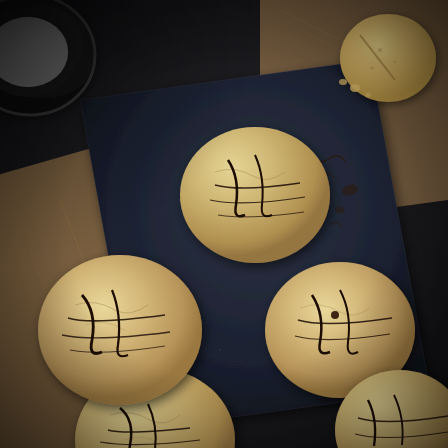[Figure (photo): Overhead food photography shot of round cookies drizzled with dark chocolate on a dark slate board. The cookies are golden-brown with chocolate drizzle patterns. The board sits on crinkled brown parchment paper against a dark textured surface. A partial dark round bowl is visible in the upper left corner. Additional plain cookies without chocolate are visible in the upper right corner on the parchment paper. The lighting is dramatic and moody with deep shadows.]